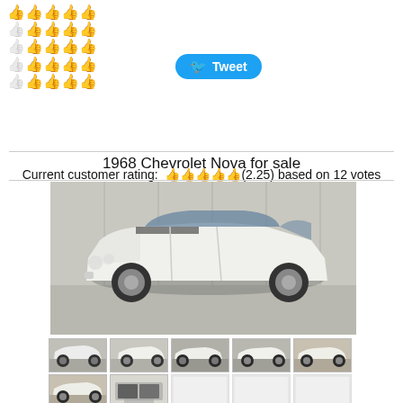[Figure (infographic): Rating widget showing 5 rows of 5 thumbs-up icons each, mix of gold and grey thumbs representing rating votes]
Tweet
1968 Chevrolet Nova for sale
Current customer rating: 👍👍👍👍👍(2.25) based on 12 votes
[Figure (photo): White 1968 Chevrolet Nova parked inside a metal building/garage, front 3/4 view]
[Figure (photo): Thumbnail row 1: 5 thumbnail photos of the 1968 Chevrolet Nova from various angles]
[Figure (photo): Thumbnail row 2: thumbnails of the 1968 Chevrolet Nova including interior and detail shots]